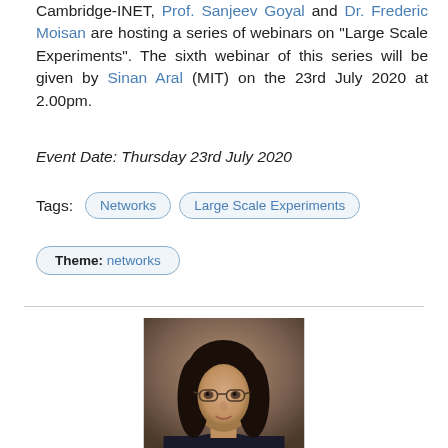Cambridge-INET, Prof. Sanjeev Goyal and Dr. Frederic Moisan are hosting a series of webinars on "Large Scale Experiments". The sixth webinar of this series will be given by Sinan Aral (MIT) on the 23rd July 2020 at 2.00pm.
Event Date: Thursday 23rd July 2020
Tags: Networks | Large Scale Experiments
Theme: networks
[Figure (photo): Portrait photo of a woman with dark hair, glasses, and a slight smile, wearing a dark top, against a brown/tan background.]